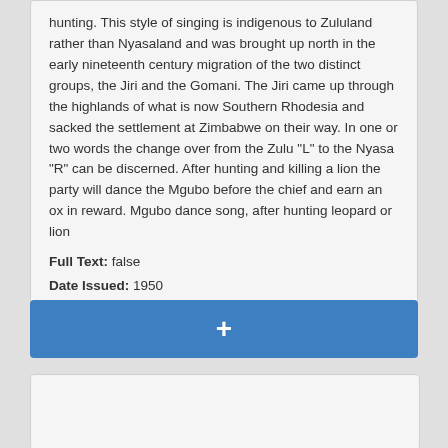hunting. This style of singing is indigenous to Zululand rather than Nyasaland and was brought up north in the early nineteenth century migration of the two distinct groups, the Jiri and the Gomani. The Jiri came up through the highlands of what is now Southern Rhodesia and sacked the settlement at Zimbabwe on their way. In one or two words the change over from the Zulu "L" to the Nyasa "R" can be discerned. After hunting and killing a lion the party will dance the Mgubo before the chief and earn an ox in reward. Mgubo dance song, after hunting leopard or lion
Full Text: false
Date Issued: 1950
[Figure (other): Blue button bar with a plus (+) symbol, used as an interactive UI element]